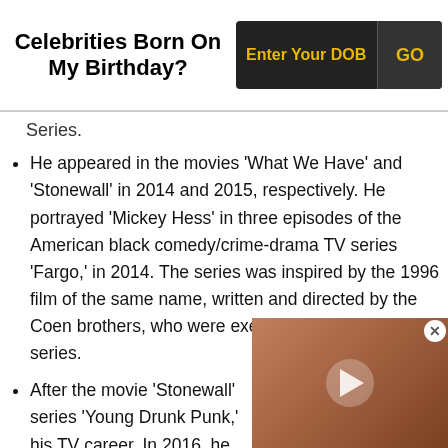Celebrities Born On My Birthday? | Enter Your DOB | GO
Series.
He appeared in the movies 'What We Have' and 'Stonewall' in 2014 and 2015, respectively. He portrayed 'Mickey Hess' in three episodes of the American black comedy/crime-drama TV series 'Fargo,' in 2014. The series was inspired by the 1996 film of the same name, written and directed by the Coen brothers, who were executive producers of the series.
After the movie 'Stonewall' series 'Young Drunk Punk,' his TV career. In 2016, he
[Figure (photo): A bald man in a light blue hoodie, with a dark artwork visible in the background. A video play button overlay is shown in the center.]